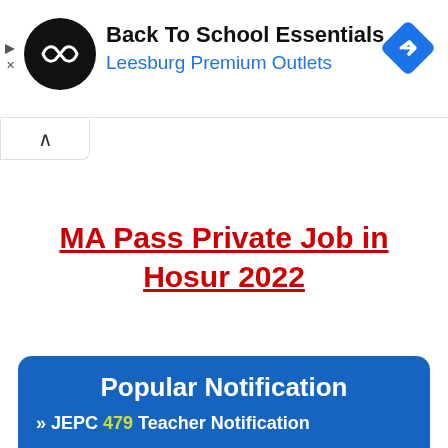[Figure (other): Advertisement banner: Back To School Essentials – Leesburg Premium Outlets, with circular logo and diamond navigation icon]
MA Pass Private Job in Hosur 2022
Popular Notification
» JEPC 479 Teacher Notification